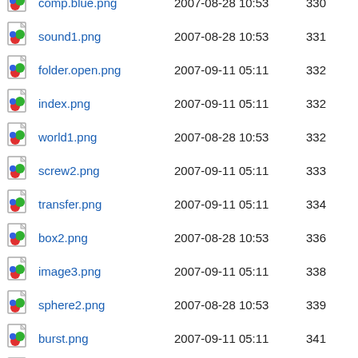comp.blue.png  2007-08-28 10:53  330
sound1.png  2007-08-28 10:53  331
folder.open.png  2007-09-11 05:11  332
index.png  2007-09-11 05:11  332
world1.png  2007-08-28 10:53  332
screw2.png  2007-09-11 05:11  333
transfer.png  2007-09-11 05:11  334
box2.png  2007-08-28 10:53  336
image3.png  2007-09-11 05:11  338
sphere2.png  2007-08-28 10:53  339
burst.png  2007-09-11 05:11  341
sphere1.png  2007-09-11 05:11  347
world2.png  2007-09-11 05:11  363
image2.png  2007-09-11 05:11  371
bomb.png  2007-09-11 05:11  375
odf6ods.png  2009-02-01 01:37  971
odf6odp.png  2009-02-01 01:37  1.0K
odf6odt.png  2009-02-01 01:37  1.0K